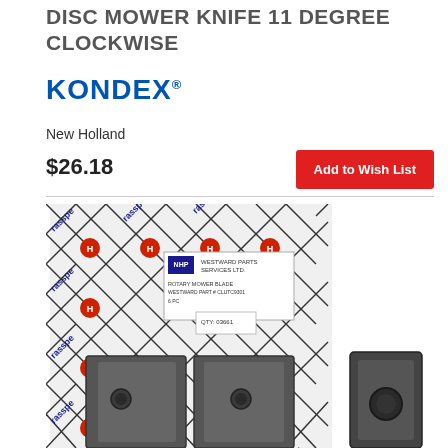DISC MOWER KNIFE 11 DEGREE CLOCKWISE
[Figure (logo): KONDEX brand logo in bold blue uppercase letters with trademark symbol]
New Holland
$26.18
Add to Wish List
[Figure (photo): Product photo showing disc mower knife blades — a packaged set on rasspe branded card packaging labeled ROTARY MOWER BLADE, with two steel blade pieces visible in front, and a single blade shown separately to the right with a circular hole]